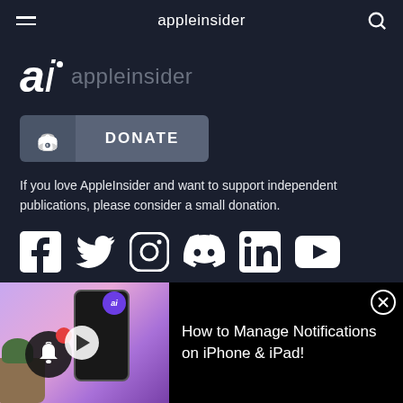appleinsider
[Figure (logo): AI appleinsider logo — bold italic 'a', light italic 'i' with dot, followed by 'appleinsider' in grey]
[Figure (other): DONATE button with money bag icon on left and DONATE text on right]
If you love AppleInsider and want to support independent publications, please consider a small donation.
[Figure (other): Social media icons row: Facebook, Twitter, Instagram, Discord, LinkedIn, YouTube]
APPLE A-Z
[Figure (screenshot): Video thumbnail showing iPhone with notification management app, purple/pink gradient background, AI badge, notification bell icon, play button overlay]
How to Manage Notifications on iPhone & iPad!